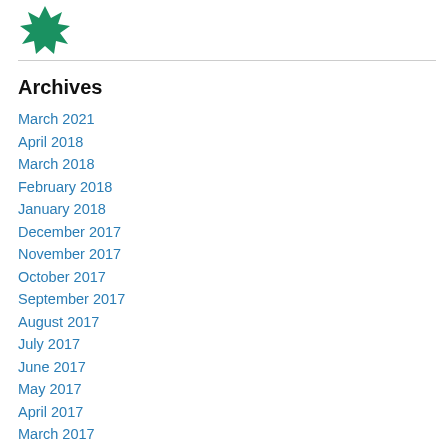[Figure (logo): Green geometric star/snowflake logo mark]
Archives
March 2021
April 2018
March 2018
February 2018
January 2018
December 2017
November 2017
October 2017
September 2017
August 2017
July 2017
June 2017
May 2017
April 2017
March 2017